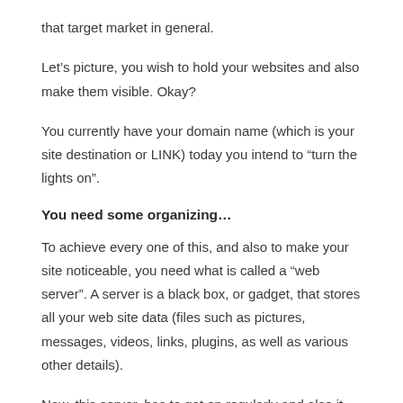that target market in general.
Let’s picture, you wish to hold your websites and also make them visible. Okay?
You currently have your domain name (which is your site destination or LINK) today you intend to “turn the lights on”.
You need some organizing…
To achieve every one of this, and also to make your site noticeable, you need what is called a “web server”. A server is a black box, or gadget, that stores all your web site data (files such as pictures, messages, videos, links, plugins, as well as various other details).
Now, this server, has to get on regularly and also it has to be